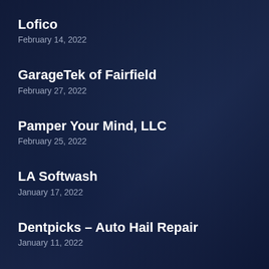Lofico
February 14, 2022
GarageTek of Fairfield
February 27, 2022
Pamper Your Mind, LLC
February 25, 2022
LA Softwash
January 17, 2022
Dentpicks – Auto Hail Repair
January 11, 2022